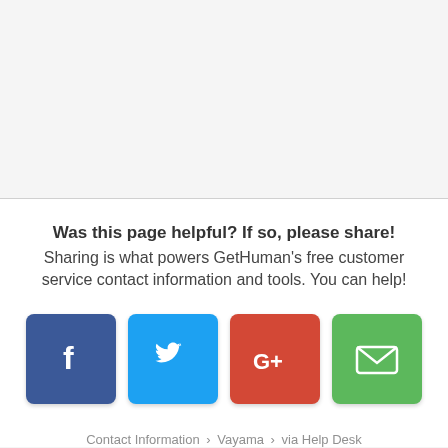Was this page helpful? If so, please share! Sharing is what powers GetHuman's free customer service contact information and tools. You can help!
[Figure (infographic): Four social sharing buttons: Facebook (dark blue, f icon), Twitter (light blue, bird icon), Google+ (red, G+ icon), Email (green, envelope icon)]
Contact Information › Vayama › via Help Desk